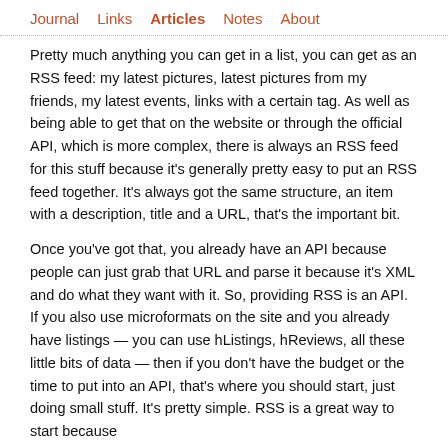Journal   Links   Articles   Notes   About
Pretty much anything you can get in a list, you can get as an RSS feed: my latest pictures, latest pictures from my friends, my latest events, links with a certain tag. As well as being able to get that on the website or through the official API, which is more complex, there is always an RSS feed for this stuff because it's generally pretty easy to put an RSS feed together. It's always got the same structure, an item with a description, title and a URL, that's the important bit.
Once you've got that, you already have an API because people can just grab that URL and parse it because it's XML and do what they want with it. So, providing RSS is an API. If you also use microformats on the site and you already have listings — you can use hListings, hReviews, all these little bits of data — then if you don't have the budget or the time to put into an API, that's where you should start, just doing small stuff. It's pretty simple. RSS is a great way to start because